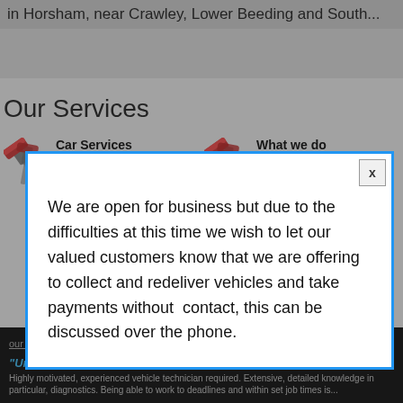in Horsham, near Crawley, Lower Beeding and South...
Our Services
Car Services
For Quality Work at Competitive Prices. Look no Further Than GCS Engineering
What we do
We repair and offer maintenance of all makes and models of cars.
We are open for business but due to the difficulties at this time we wish to let our valued customers know that we are offering to collect and redeliver vehicles and take payments without  contact, this can be discussed over the phone.
our GDPR / Privacy Policy more information
Accept
"Urgently Looking" - Vacancies Available
Highly motivated, experienced vehicle technician required. Extensive, detailed knowledge in particular, diagnostics. Being able to work to deadlines and within set job times is...